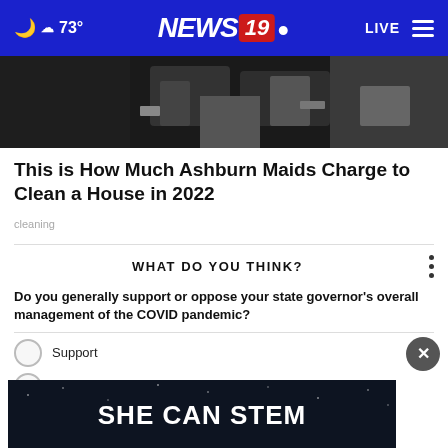73° NEWS 19 LIVE
[Figure (photo): Dark image showing what appears to be a person or figure, partially visible, dark tones]
This is How Much Ashburn Maids Charge to Clean a House in 2022
cleaning
WHAT DO YOU THINK?
Do you generally support or oppose your state governor's overall management of the COVID pandemic?
Support
[Figure (infographic): SHE CAN STEM advertisement banner on dark background]